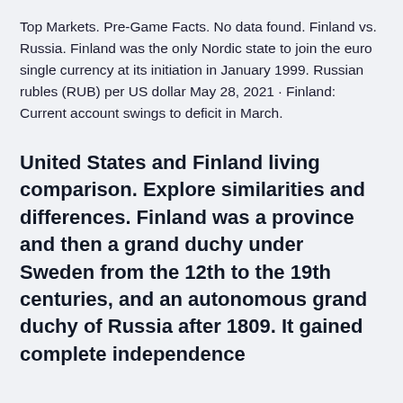Top Markets. Pre-Game Facts. No data found. Finland vs. Russia. Finland was the only Nordic state to join the euro single currency at its initiation in January 1999. Russian rubles (RUB) per US dollar May 28, 2021 · Finland: Current account swings to deficit in March.
United States and Finland living comparison. Explore similarities and differences. Finland was a province and then a grand duchy under Sweden from the 12th to the 19th centuries, and an autonomous grand duchy of Russia after 1809. It gained complete independence